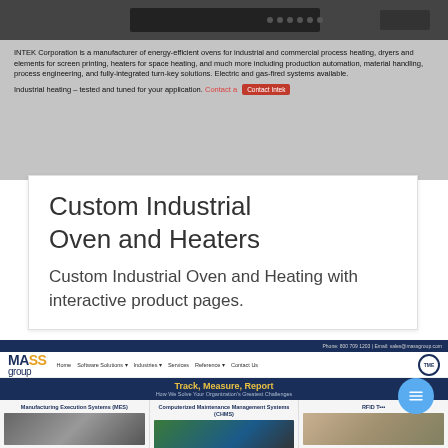[Figure (screenshot): INTEK Corporation website screenshot showing company description banner with text about energy-efficient ovens, industrial heating, and a red 'Contact Intek' button.]
Custom Industrial Oven and Heaters
Custom Industrial Oven and Heating with interactive product pages.
[Figure (screenshot): MASS group website screenshot showing navigation bar, TME logo, 'Track, Measure, Report' hero banner in dark blue with yellow text, and three product panels: Manufacturing Execution Systems (MES), Computerized Maintenance Management Systems (CHMS), and RFID T[racking] with corresponding images.]